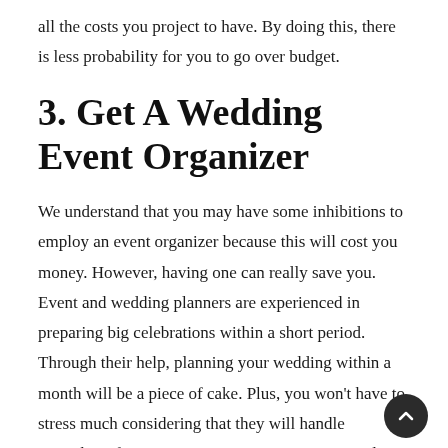all the costs you project to have. By doing this, there is less probability for you to go over budget.
3. Get A Wedding Event Organizer
We understand that you may have some inhibitions to employ an event organizer because this will cost you money. However, having one can really save you. Event and wedding planners are experienced in preparing big celebrations within a short period. Through their help, planning your wedding within a month will be a piece of cake. Plus, you won't have to stress much considering that they will handle everything for you. Now, in case you're interested in hiring one, see here.